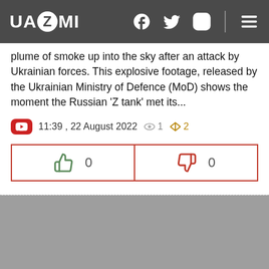UAZMI
plume of smoke up into the sky after an attack by Ukrainian forces. This explosive footage, released by the Ukrainian Ministry of Defence (MoD) shows the moment the Russian 'Z tank' met its...
11:39 , 22 August 2022  👁 1  📈 2
[Figure (screenshot): Like (thumbs up) button with count 0 and Dislike (thumbs down) button with count 0]
[Figure (photo): Gray placeholder area at the bottom of the page]